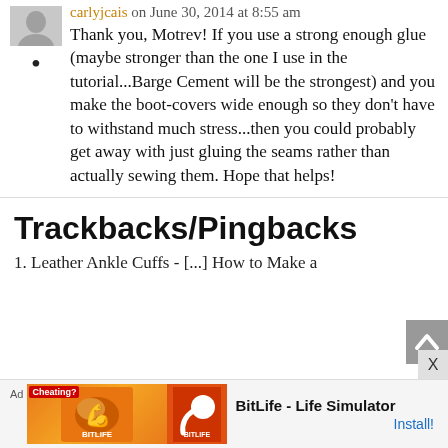[Figure (photo): Cropped avatar/profile image thumbnail at top]
carlyjcais on June 30, 2014 at 8:55 am
Thank you, Motrev! If you use a strong enough glue (maybe stronger than the one I use in the tutorial...Barge Cement will be the strongest) and you make the boot-covers wide enough so they don't have to withstand much stress...then you could probably get away with just gluing the seams rather than actually sewing them. Hope that helps!
Trackbacks/Pingbacks
1. Leather Ankle Cuffs - [...] How to Make a
[Figure (screenshot): Ad banner at bottom: BitLife - Life Simulator mobile game advertisement with orange background, muscle emoji, sperm logo, ad label, and Install button]